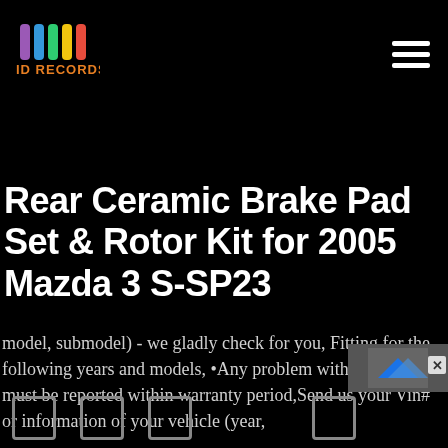[Figure (logo): ID Records logo with colorful vertical bars and orange text]
Rear Ceramic Brake Pad Set & Rotor Kit for 2005 Mazda 3 S-SP23
model, submodel) - we gladly check for you, Fitting for the following years and models, •Any problem with an Item must be reported within warranty period,Send us your Vin# or information of your vehicle (year,
[Figure (screenshot): Ad overlay with blue arrow icon and close button]
[Figure (other): Footer navigation icons: three square icons on the left and one on the right]